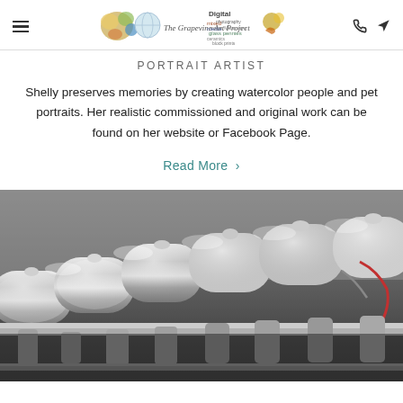The Grapevine Art Project [logo/navigation header]
Portrait Artist
Shelly preserves memories by creating watercolor people and pet portraits. Her realistic commissioned and original work can be found on her website or Facebook Page.
Read More
[Figure (photo): Close-up black and white photograph of polished chrome motorcycle engine components, showing multiple rounded valve covers and mechanical parts with high reflectivity.]